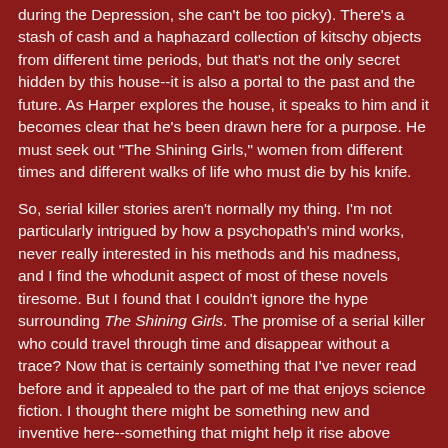during the Depression, she can't be too picky). There's a stash of cash and a haphazard collection of kitschy objects from different time periods, but that's not the only secret hidden by this house--it is also a portal to the past and the future. As Harper explores the house, it speaks to him and it becomes clear that he's been drawn here for a purpose. He must seek out "The Shining Girls," women from different times and different walks of life who must die by his knife.
So, serial killer stories aren't normally my thing. I'm not particularly intrigued by how a psychopath's mind works, never really interested in his methods and his madness, and I find the whodunit aspect of most of these novels tiresome. But I found that I couldn't ignore the hype surrounding The Shining Girls. The promise of a serial killer who could travel through time and disappear without a trace? Now that is certainly something that I've never read before and it appealed to the part of me that enjoys science fiction. I thought there might be something new and inventive here--something that might help it rise above others of its ilk. However, it proved to be disappointingly, well, average.
Harper Curtis is a sociopath psychopath, complete with a